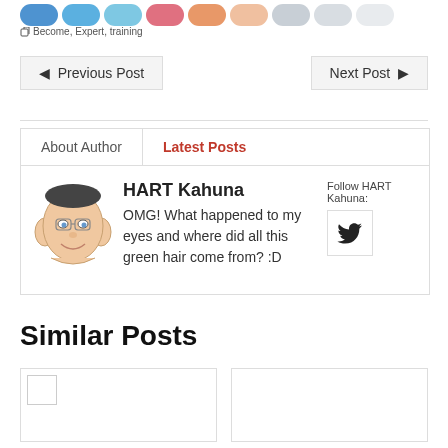[Figure (illustration): Row of colorful social sharing pill/button icons in blue, pink, orange, and gray tones]
Become, Expert, training
◄ Previous Post
Next Post ►
About Author
Latest Posts
[Figure (illustration): Cartoon caricature avatar of HART Kahuna — a man with glasses and large ears, smiling, resting chin on hand]
HART Kahuna
OMG! What happened to my eyes and where did all this green hair come from? :D
Follow HART Kahuna:
[Figure (logo): Twitter bird icon button]
Similar Posts
[Figure (illustration): Similar post card placeholder 1 with small thumbnail]
[Figure (illustration): Similar post card placeholder 2]